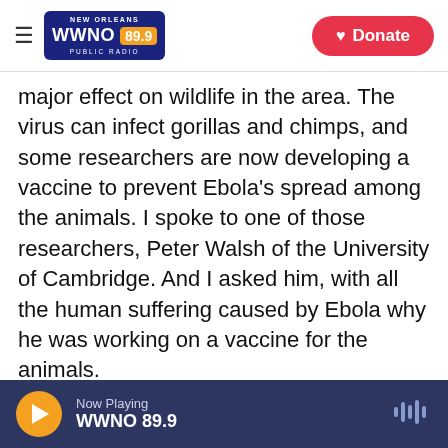NEW ORLEANS WWNO 89.9 PUBLIC RADIO | Donate
major effect on wildlife in the area. The virus can infect gorillas and chimps, and some researchers are now developing a vaccine to prevent Ebola's spread among the animals. I spoke to one of those researchers, Peter Walsh of the University of Cambridge. And I asked him, with all the human suffering caused by Ebola why he was working on a vaccine for the animals.

PETER WALSH: Well, actually gorillas and chimpanzees are one of the major intermediate hosts for Ebola transmission from - we think bats is the reservoir to humans. Our best guess at this
Now Playing WWNO 89.9